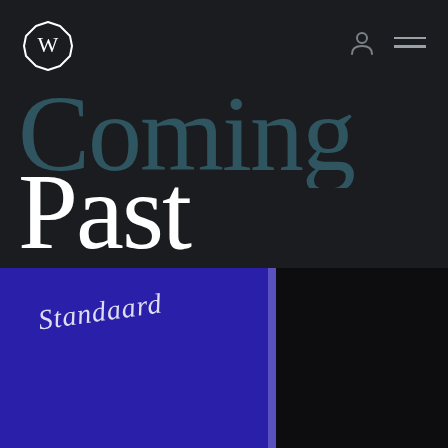[Figure (logo): Circular logo with a stylized W inside a white octagonal/circular border]
Coming Past
[Figure (photo): Dark photo of a blue illuminated screen or panel with blurred white italic text, partially split by a dark vertical divider, with black area to the right]